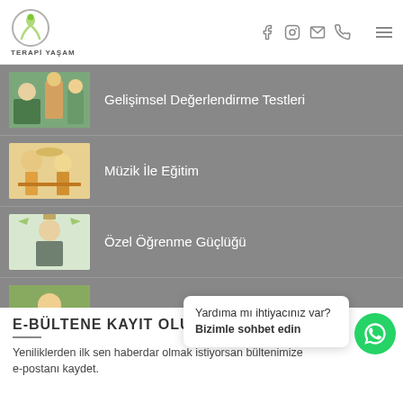HAYMER - TERAPİ YAŞAM
Gelişimsel Değerlendirme Testleri
Müzik İle Eğitim
Özel Öğrenme Güçlüğü
Yaygın Gelişimsel Bozukluklar
E-BÜLTENE KAYIT OLUN
Yeniliklerden ilk sen haberdar olmak istiyorsan bültenimize e-postanı kaydet.